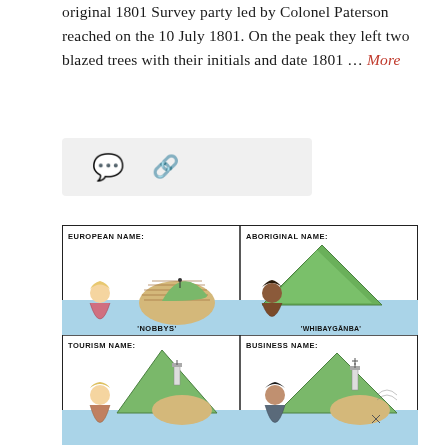original 1801 Survey party led by Colonel Paterson reached on the 10 July 1801. On the peak they left two blazed trees with their initials and date 1801 … More
[Figure (illustration): Cartoon illustration divided into four panels showing a rocky headland (Nobbys/Whibayganba) from different perspectives: European Name ('NOBBYS'), Aboriginal Name ('WHIBAYGANBA'), Tourism Name, and Business Name. Each panel shows a caricatured person looking at the headland.]